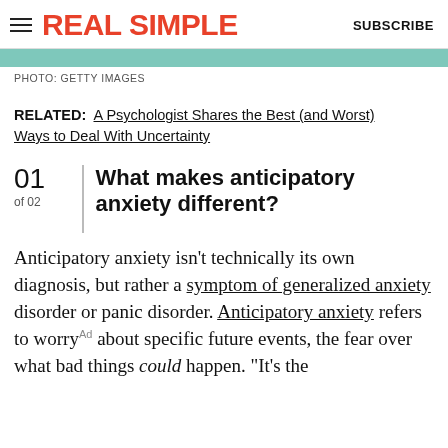REAL SIMPLE   SUBSCRIBE
[Figure (photo): Teal/green colored image strip at top of article]
PHOTO: GETTY IMAGES
RELATED: A Psychologist Shares the Best (and Worst) Ways to Deal With Uncertainty
01 of 02 What makes anticipatory anxiety different?
Anticipatory anxiety isn't technically its own diagnosis, but rather a symptom of generalized anxiety disorder or panic disorder. Anticipatory anxiety refers to worry about specific future events, the fear over what bad things could happen. "It's the